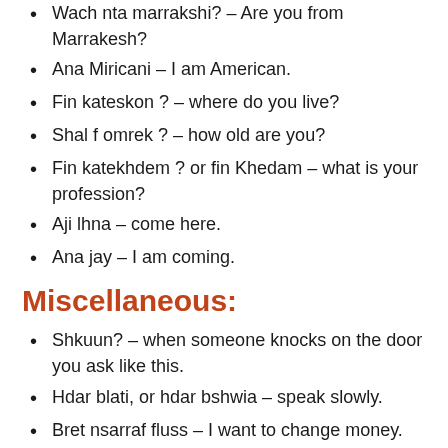Wach nta marrakshi? – Are you from Marrakesh?
Ana Miricani – I am American.
Fin kateskon ? – where do you live?
Shal f omrek ? – how old are you?
Fin katekhdem ? or fin Khedam – what is your profession?
Aji lhna – come here.
Ana jay – I am coming.
Miscellaneous:
Shkuun? – when someone knocks on the door you ask like this.
Hdar blati, or hdar bshwia – speak slowly.
Bret nsarraf fluss – I want to change money.
Mabritsh – I do not want.
Bezaff – a lot.